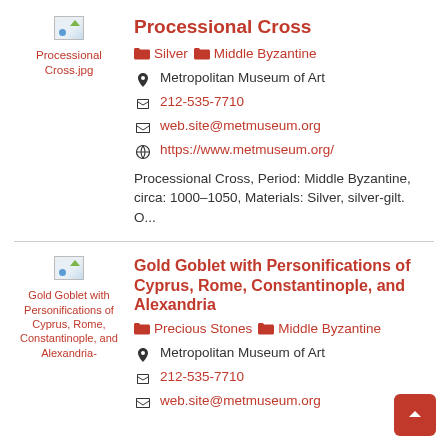[Figure (photo): Placeholder image for Processional Cross.jpg]
Processional Cross
Silver
Middle Byzantine
Metropolitan Museum of Art
212-535-7710
web.site@metmuseum.org
https://www.metmuseum.org/
Processional Cross, Period: Middle Byzantine, circa: 1000–1050, Materials: Silver, silver-gilt. O...
[Figure (photo): Placeholder image for Gold Goblet with Personifications of Cyprus, Rome, Constantinople, and Alexandria]
Gold Goblet with Personifications of Cyprus, Rome, Constantinople, and Alexandria
Precious Stones
Middle Byzantine
Metropolitan Museum of Art
212-535-7710
web.site@metmuseum.org